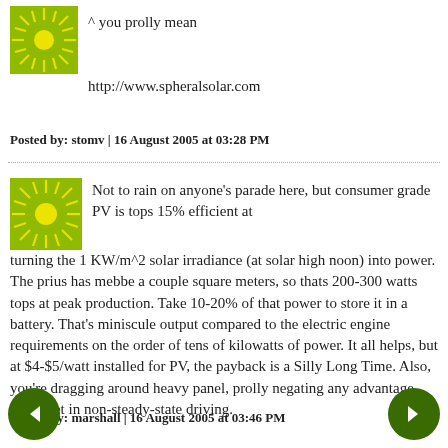^ you prolly mean
http://www.spheralsolar.com
Posted by: stomv | 16 August 2005 at 03:28 PM
Not to rain on anyone's parade here, but consumer grade PV is tops 15% efficient at turning the 1 KW/m^2 solar irradiance (at solar high noon) into power. The prius has mebbe a couple square meters, so thats 200-300 watts tops at peak production. Take 10-20% of that power to store it in a battery. That's miniscule output compared to the electric engine requirements on the order of tens of kilowatts of power. It all helps, but at $4-$5/watt installed for PV, the payback is a Silly Long Time. Also, you're dragging around heavy panel, prolly negating any advantage you'd get in non-steady-state driving.
Posted by: marshall | 16 August 2005 at 03:46 PM